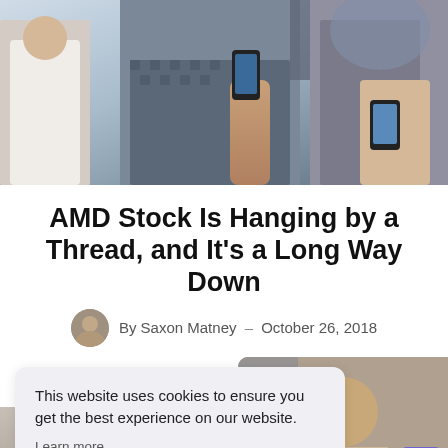[Figure (photo): Hero image showing people using smartphones, cropped to show torsos and hands holding phones]
AMD Stock Is Hanging by a Thread, and It's a Long Way Down
By Saxon Matney – October 26, 2018
This website uses cookies to ensure you get the best experience on our website.
Learn more
GOT IT!